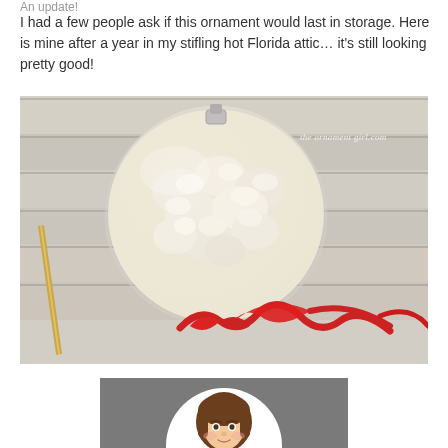An update!
I had a few people ask if this ornament would last in storage. Here is mine after a year in my stifling hot Florida attic… it's still looking pretty good!
[Figure (photo): A clear glass ball ornament filled with white popcorn, sitting on a whitewashed wood surface with a red ribbon and a gold pencil. Watermark reads 'the ornament girl.com']
[Figure (logo): Circular logo with gray background showing a cartoon illustration of a brunette woman's face]